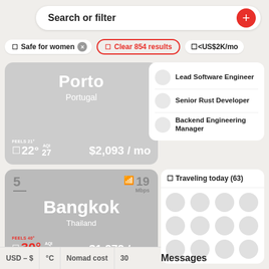Search or filter
Safe for women
Clear 854 results
<US$2K/mo
Porto, Portugal – FEELS 21° – 22° – AQI 27 – $2,093 / mo
Lead Software Engineer
Senior Rust Developer
Backend Engineering Manager
5 – 19 Mbps – Bangkok, Thailand – FEELS 40° – 30° – AQI 38 – $1,272 / mo
Traveling today (63)
Messages
USD – $ | °C | Nomad cost | 30